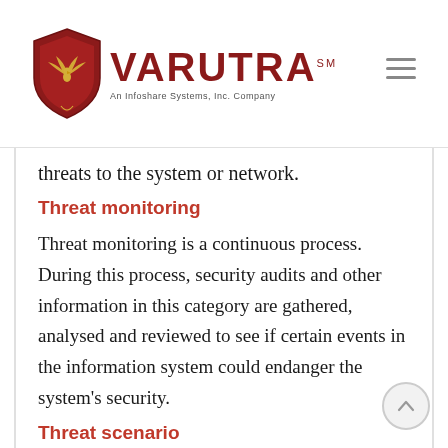VARUTRA — An Infoshare Systems, Inc. Company
threats to the system or network.
Threat monitoring
Threat monitoring is a continuous process. During this process, security audits and other information in this category are gathered, analysed and reviewed to see if certain events in the information system could endanger the system's security.
Threat scenario